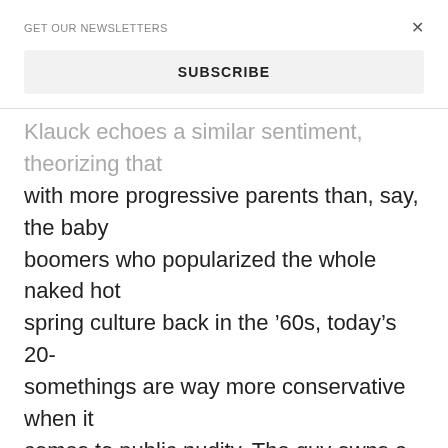GET OUR NEWSLETTERS
SUBSCRIBE
Klauck echoes a similar sentiment, theorizing that with more progressive parents than, say, the baby boomers who popularized the whole naked hot spring culture back in the '60s, today's 20-somethings are way more conservative when it comes to public nudity. The guy owns a clothing-optional spa, so I defer to his experience, while still wondering if the alleged millennial aversion to nudity might have more to do with the fact that 20-somethings spend so much time posting selfies on social media and have thus taken to